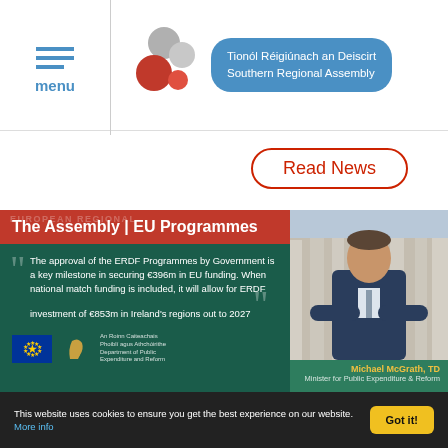[Figure (logo): Southern Regional Assembly logo with grey and red bubble circles and blue pill-shaped label reading 'Tionól Réigiúnach an Deiscirt Southern Regional Assembly']
menu
Read News
The Assembly | EU Programmes
The approval of the ERDF Programmes by Government is a key milestone in securing €396m in EU funding. When national match funding is included, it will allow for ERDF investment of €853m in Ireland's regions out to 2027
[Figure (photo): Photo of Michael McGrath, TD, Minister for Public Expenditure & Reform, standing in front of a classical building]
Michael McGrath, TD
Minister for Public Expenditure & Reform
This website uses cookies to ensure you get the best experience on our website. More info
Got it!